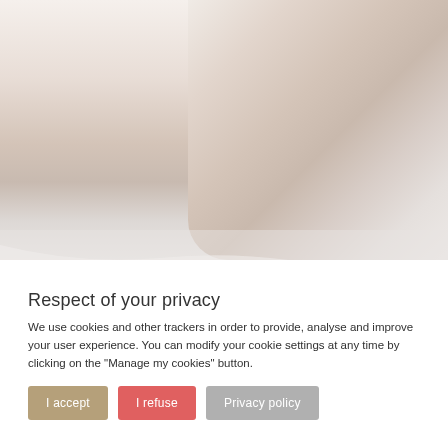[Figure (photo): Partial view of a nude human torso/lower body from behind against a white background, cropped artwork/fashion photography style]
Respect of your privacy
We use cookies and other trackers in order to provide, analyse and improve your user experience. You can modify your cookie settings at any time by clicking on the "Manage my cookies" button.
I accept
I refuse
Privacy policy